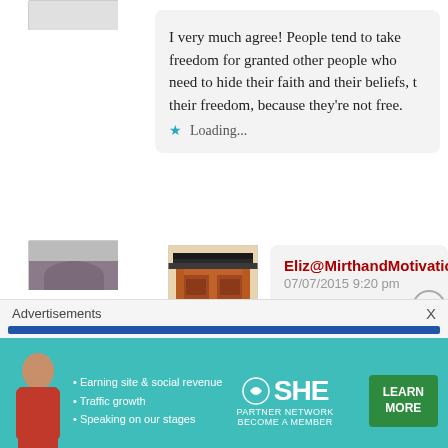I very much agree! People tend to take freedom for granted other people who need to hide their faith and their beliefs, their freedom, because they’re not free.
Loading...
[Figure (photo): Avatar image of a red Japanese temple gate]
Eliz@MirthandMotivation  PERMALINK
07/07/2015 9:20 pm
True… it is easy to be that way when it h
Loading...
[Figure (photo): Partial avatar with gray/purple image, partially visible]
Advertisements
[Figure (infographic): SHE Partner Network advertisement banner with teal background showing earning site social revenue, traffic growth, speaking on stages bullets and LEARN MORE button]